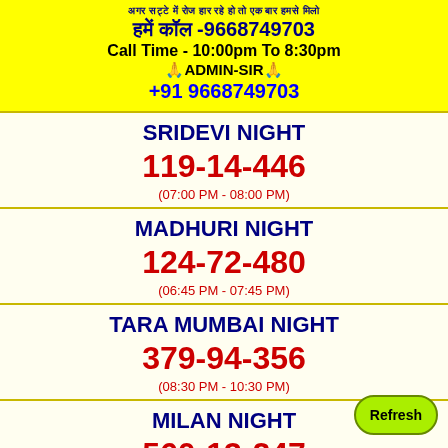अगर सट्टे में रोज हार रहे हो तो एक बार हमसे मिलो
हमें कॉल -9668749703
Call Time - 10:00pm To 8:30pm
🙏ADMIN-SIR🙏
+91 9668749703
SRIDEVI NIGHT
119-14-446
(07:00 PM - 08:00 PM)
MADHURI NIGHT
124-72-480
(06:45 PM - 07:45 PM)
TARA MUMBAI NIGHT
379-94-356
(08:30 PM - 10:30 PM)
MILAN NIGHT
560-13-247